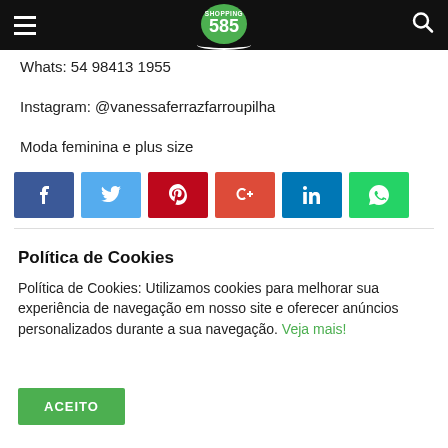Shopping 585 logo / navigation header
Whats: 54 98413 1955
Instagram: @vanessaferrazfarroupilha
Moda feminina e plus size
[Figure (infographic): Social media share buttons: Facebook, Twitter, Pinterest, Google+, LinkedIn, WhatsApp]
Política de Cookies
Política de Cookies: Utilizamos cookies para melhorar sua experiência de navegação em nosso site e oferecer anúncios personalizados durante a sua navegação. Veja mais!
ACEITO